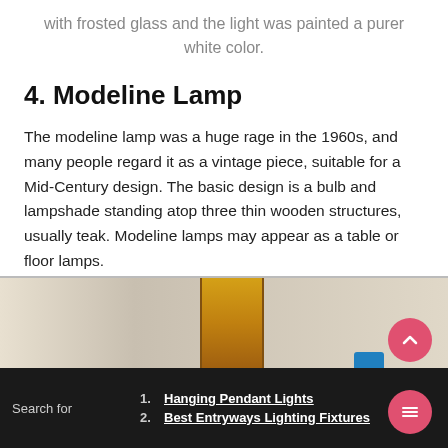with frosted glass and the light was painted a purer white color.
4. Modeline Lamp
The modeline lamp was a huge rage in the 1960s, and many people regard it as a vintage piece, suitable for a Mid-Century design. The basic design is a bulb and lampshade standing atop three thin wooden structures, usually teak. Modeline lamps may appear as a table or floor lamps.
[Figure (photo): Partial photo of a modeline lamp with amber/golden cylindrical shade against a light background]
Search for
1. Hanging Pendant Lights
2. Best Entryways Lighting Fixtures